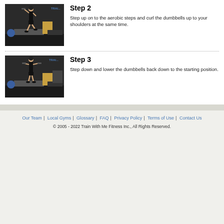[Figure (photo): Woman stepping up onto aerobic step platform holding dumbbells, gym background with weights and boxes]
Step 2
Step up on to the aerobic steps and curl the dumbbells up to your shoulders at the same time.
[Figure (photo): Woman standing on aerobic step platform with dumbbells curled to shoulders, gym background]
Step 3
Step down and lower the dumbbells back down to the starting position.
Our Team | Local Gyms | Glossary | FAQ | Privacy Policy | Terms of Use | Contact Us
© 2005 - 2022 Train With Me Fitness Inc., All Rights Reserved.